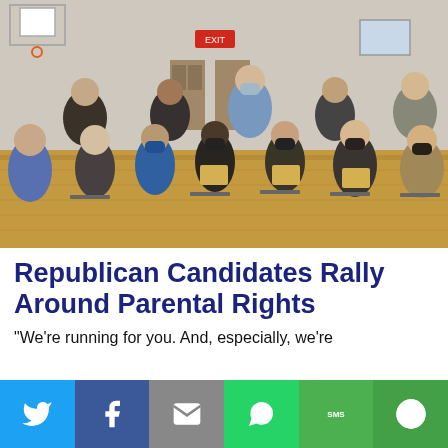[Figure (photo): Group of students seated in chairs in a school gymnasium, many wearing face masks and holding yellow envelopes. One student stands in the center. Bleachers and basketball hoop visible in background.]
Republican Candidates Rally Around Parental Rights
“We’re running for you. And, especially, we’re
[Figure (infographic): Social media share bar with buttons for Twitter (blue bird icon), Facebook (blue f icon), Email (grey envelope icon), WhatsApp (green phone icon), SMS (green SMS icon), and More (green circle-arrow icon).]